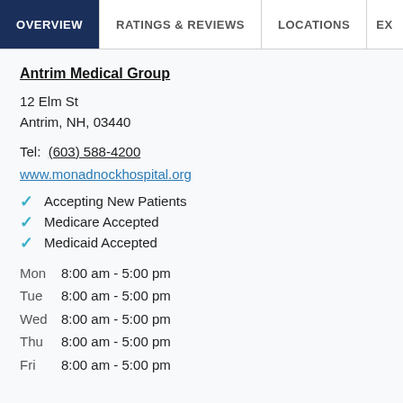OVERVIEW | RATINGS & REVIEWS | LOCATIONS | EX
Antrim Medical Group
12 Elm St
Antrim, NH, 03440
Tel:  (603) 588-4200
www.monadnockhospital.org
Accepting New Patients
Medicare Accepted
Medicaid Accepted
Mon   8:00 am - 5:00 pm
Tue   8:00 am - 5:00 pm
Wed   8:00 am - 5:00 pm
Thu   8:00 am - 5:00 pm
Fri   8:00 am - 5:00 pm